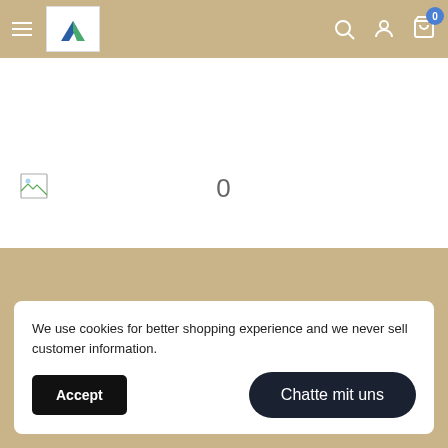[Figure (screenshot): Website navigation header with hamburger menu, logo (two blue triangles on white background), search icon, user icon, and cart icon with badge showing 0]
[Figure (illustration): Broken image icon on the left side of the white content area, with a large '0' in grey in the center]
We use cookies for better shopping experience and we never sell customer information.
Accept
Chatte mit uns